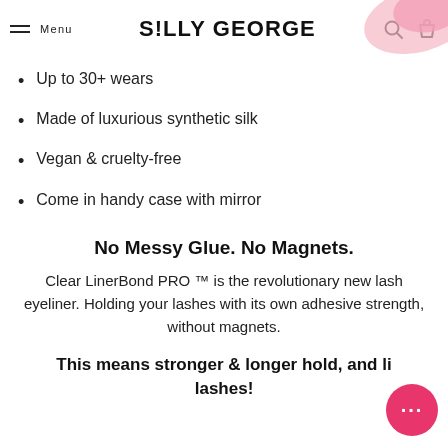Menu | S!LLY GEORGE
Up to 30+ wears
Made of luxurious synthetic silk
Vegan & cruelty-free
Come in handy case with mirror
No Messy Glue. No Magnets.
Clear LinerBond PRO ™ is the revolutionary new lash eyeliner. Holding your lashes with its own adhesive strength, without magnets.
This means stronger & longer hold, and li lashes!